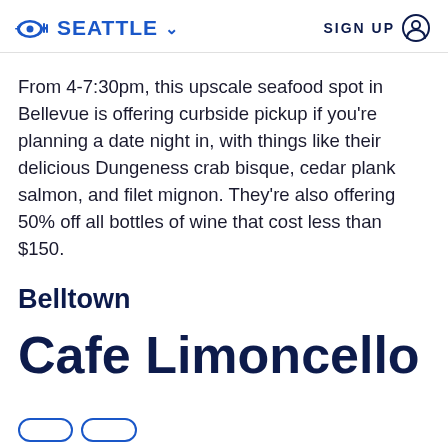SEATTLE  SIGN UP
From 4-7:30pm, this upscale seafood spot in Bellevue is offering curbside pickup if you're planning a date night in, with things like their delicious Dungeness crab bisque, cedar plank salmon, and filet mignon. They're also offering 50% off all bottles of wine that cost less than $150.
Belltown
Cafe Limoncello